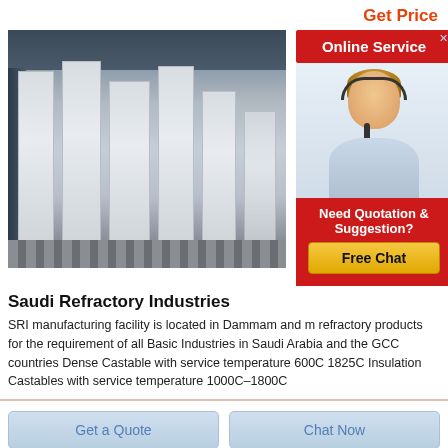Get Price
[Figure (photo): Industrial warehouse interior with tall white/grey rectangular refractory blocks standing upright on a pallet conveyor floor, corrugated metal ceiling with overhead cranes visible.]
[Figure (infographic): Online Service banner ad with red background, close button, photo of smiling female customer service agent wearing a headset, 'Need Quotation & Suggestion?' text, and yellow 'Free Chat' button.]
Saudi Refractory Industries
SRI manufacturing facility is located in Dammam and manufactures refractory products for the requirement of all Basic Industries in Saudi Arabia and the GCC countries Dense Castable with service temperature 600C 1825C Insulation Castables with service temperature 1000C–1800C
Get a Quote
Chat Now